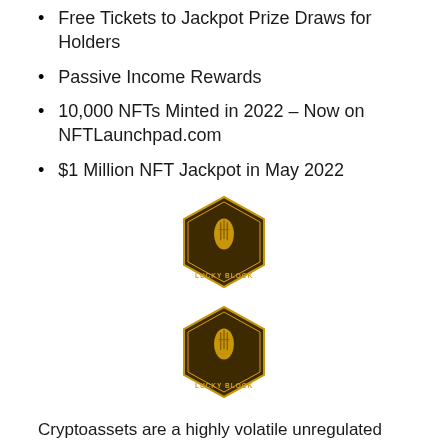Free Tickets to Jackpot Prize Draws for Holders
Passive Income Rewards
10,000 NFTs Minted in 2022 – Now on NFTLaunchpad.com
$1 Million NFT Jackpot in May 2022
[Figure (logo): Lucky Block logo — gold hexagonal badge with crossed fingers icon and 'LUCKY BLOCK' text]
[Figure (logo): Lucky Block logo — gold hexagonal badge with crossed fingers icon and 'LUCKY BLOCK' text]
Cryptoassets are a highly volatile unregulated investment product. No UK or EU investor protection.